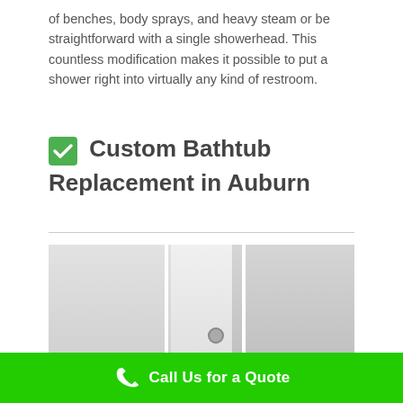of benches, body sprays, and heavy steam or be straightforward with a single showerhead. This countless modification makes it possible to put a shower right into virtually any kind of restroom.
✅ Custom Bathtub Replacement in Auburn
[Figure (photo): Interior bathroom photo showing a white shower or bathtub enclosure with door frame and knob, walls on either side]
Call Us for a Quote